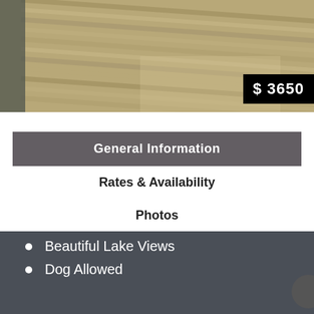[Figure (photo): Wooden deck boards photographed at an angle, showing horizontal wood planks with natural grain texture, outdoor setting]
$ 3650
General Information
Rates & Availability
Photos
Maps
Reviews
Beautiful Lake Views
Dog Allowed